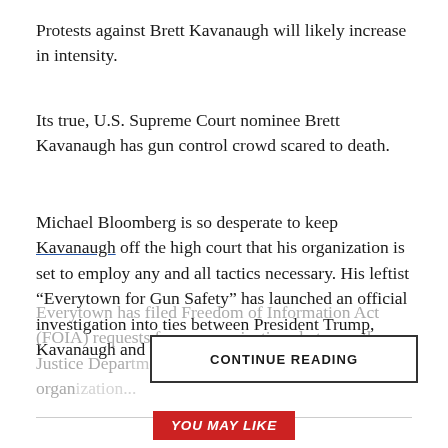Protests against Brett Kavanaugh will likely increase in intensity.
Its true, U.S. Supreme Court nominee Brett Kavanaugh has gun control crowd scared to death.
Michael Bloomberg is so desperate to keep Kavanaugh off the high court that his organization is set to employ any and all tactics necessary. His leftist “Everytown for Gun Safety” has launched an official investigation into ties between President Trump, Kavanaugh and the NRA.
Everytown has filed Freedom of Information Act (FOIA) requests for communications between the Justice Department and the NRA nomination. The organization...
CONTINUE READING
YOU MAY LIKE